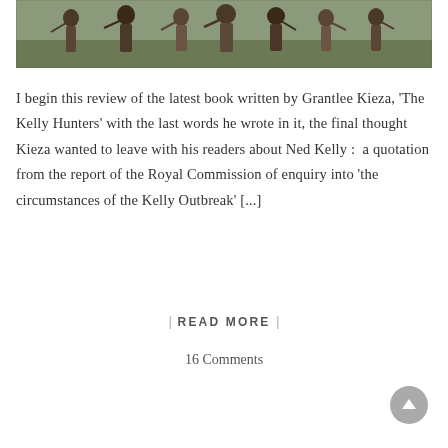[Figure (photo): Historical colorized photograph of a group of armed men (likely related to the Kelly Gang era), holding rifles, wearing hats and period clothing, standing/sitting together outdoors.]
I begin this review of the latest book written by Grantlee Kieza, 'The Kelly Hunters' with the last words he wrote in it, the final thought Kieza wanted to leave with his readers about Ned Kelly :  a quotation from the report of the Royal Commission of enquiry into 'the circumstances of the Kelly Outbreak' [...]
| READ MORE |
16 Comments